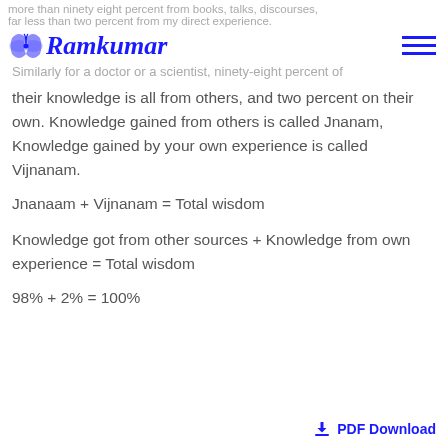more than ninety eight percent from books, talks, discourses, far less than two percent from my direct experience.
[Figure (logo): Ramkumar logo with butterfly icon in blue script]
Similarly for a doctor or a scientist, ninety-eight percent of their knowledge is all from others, and two percent on their own. Knowledge gained from others is called Jnanam, Knowledge gained by your own experience is called Vijnanam.
Jnanaam + Vijnanam = Total wisdom
Knowledge got from other sources + Knowledge from own experience = Total wisdom
98% + 2% = 100%
PDF Download